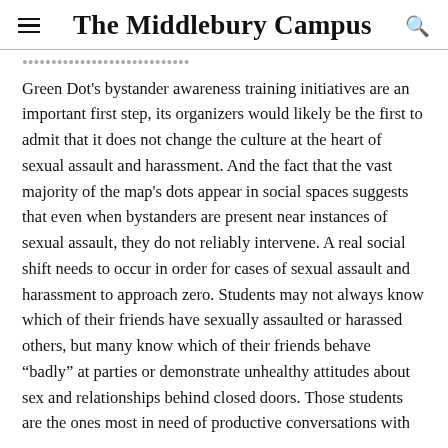The Middlebury Campus
Green Dot's bystander awareness training initiatives are an important first step, its organizers would likely be the first to admit that it does not change the culture at the heart of sexual assault and harassment. And the fact that the vast majority of the map's dots appear in social spaces suggests that even when bystanders are present near instances of sexual assault, they do not reliably intervene. A real social shift needs to occur in order for cases of sexual assault and harassment to approach zero. Students may not always know which of their friends have sexually assaulted or harassed others, but many know which of their friends behave “badly” at parties or demonstrate unhealthy attitudes about sex and relationships behind closed doors. Those students are the ones most in need of productive conversations with their friends about